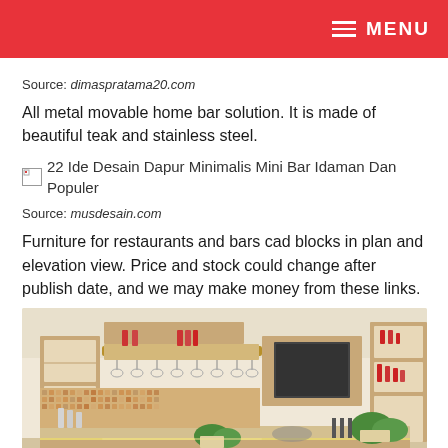MENU
Source: dimaspratama20.com
All metal movable home bar solution. It is made of beautiful teak and stainless steel.
[Figure (photo): Broken image placeholder with text: 22 Ide Desain Dapur Minimalis Mini Bar Idaman Dan Populer]
Source: musdesain.com
Furniture for restaurants and bars cad blocks in plan and elevation view. Price and stock could change after publish date, and we may make money from these links.
[Figure (photo): Interior photo of a minimalist kitchen and mini bar with wooden cabinets, open shelves with bottles, mosaic tile backsplash, and hanging wine glass rack]